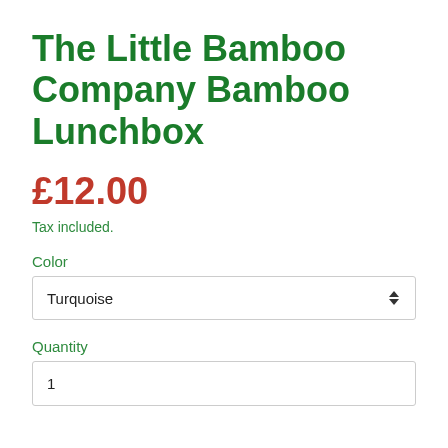The Little Bamboo Company Bamboo Lunchbox
£12.00
Tax included.
Color
Turquoise
Quantity
1